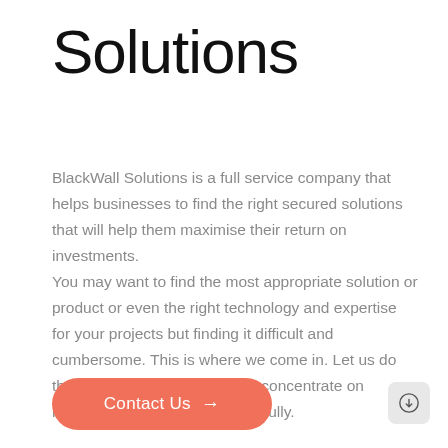Solutions
BlackWall Solutions is a full service company that helps businesses to find the right secured solutions that will help them maximise their return on investments. You may want to find the most appropriate solution or product or even the right technology and expertise for your projects but finding it difficult and cumbersome. This is where we come in. Let us do the hard work for you and you concentrate on running your business successfully.
Contact Us →